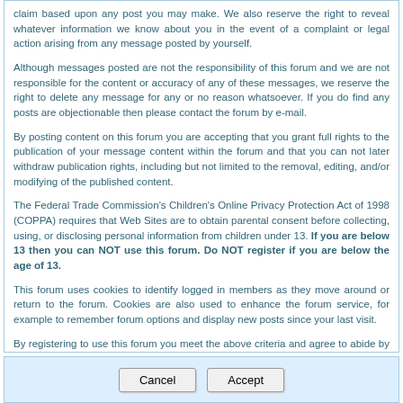claim based upon any post you may make. We also reserve the right to reveal whatever information we know about you in the event of a complaint or legal action arising from any message posted by yourself.
Although messages posted are not the responsibility of this forum and we are not responsible for the content or accuracy of any of these messages, we reserve the right to delete any message for any or no reason whatsoever. If you do find any posts are objectionable then please contact the forum by e-mail.
By posting content on this forum you are accepting that you grant full rights to the publication of your message content within the forum and that you can not later withdraw publication rights, including but not limited to the removal, editing, and/or modifying of the published content.
The Federal Trade Commission's Children's Online Privacy Protection Act of 1998 (COPPA) requires that Web Sites are to obtain parental consent before collecting, using, or disclosing personal information from children under 13. If you are below 13 then you can NOT use this forum. Do NOT register if you are below the age of 13.
This forum uses cookies to identify logged in members as they move around or return to the forum. Cookies are also used to enhance the forum service, for example to remember forum options and display new posts since your last visit.
By registering to use this forum you meet the above criteria and agree to abide by all of the above rules and policies.